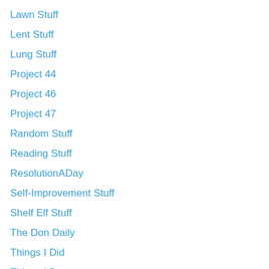Lawn Stuff
Lent Stuff
Lung Stuff
Project 44
Project 46
Project 47
Random Stuff
Reading Stuff
ResolutionADay
Self-Improvement Stuff
Shelf Elf Stuff
The Don Daily
Things I Did
Things I Do
Things I Don't Do
Things I Hate
Things I Have
Things I Love
Things I Make
Things I Think